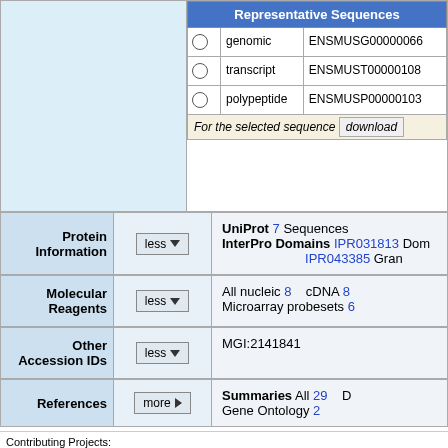|  |  | Representative Sequences |
| --- | --- | --- |
| ○ | genomic | ENSMUSG00000066... |
| ○ | transcript | ENSMUST00000108... |
| ○ | polypeptide | ENSMUSP00000103... |
For the selected sequence  download
| Protein Information | less | UniProt 7 Sequences  InterPro Domains IPR031813 Dom... IPR043385 Gran... |
| --- | --- | --- |
| Molecular Reagents | less | All nucleic 8  cDNA 8  Microarray probesets 6 |
| --- | --- | --- |
| Other Accession IDs | less | MGI:2141841 |
| --- | --- | --- |
| References | more | Summaries All 29  D...  Gene Ontology 2... |
| --- | --- | --- |
Contributing Projects:
Mouse Genome Database (MGD), Gene Expression Database (GXD), Mouse Models of Huma...